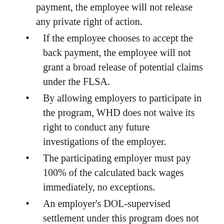If an employee chooses not to accept such payment, the employee will not release any private right of action.
If the employee chooses to accept the back payment, the employee will not grant a broad release of potential claims under the FLSA.
By allowing employers to participate in the program, WHD does not waive its right to conduct any future investigations of the employer.
The participating employer must pay 100% of the calculated back wages immediately, no exceptions.
An employer's DOL-supervised settlement under this program does not necessarily prevent state law wage claims.